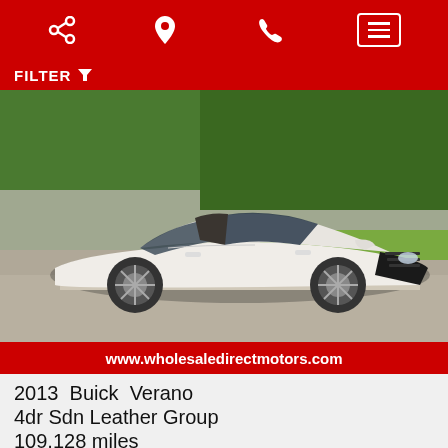[Figure (screenshot): Red navigation bar with share icon, location pin icon, phone icon, and hamburger menu button on white border]
FILTER
[Figure (photo): White 2013 Buick Verano sedan parked on asphalt with green trees and grass in background]
www.wholesaledirectmotors.com
2013  Buick  Verano
4dr Sdn Leather Group
109,128 miles
Internet Price
$13,995  $11,995